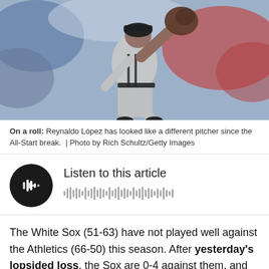[Figure (photo): Baseball pitcher mid-windup, wearing gray uniform with black accents, holding a brown glove raised, with blurred crowd in background wearing red.]
On a roll: Reynaldo López has looked like a different pitcher since the All-Start break.  |  Photo by Rich Schultz/Getty Images
[Figure (other): Audio player widget with black circular play button icon and audio waveform visualization, labeled 'Listen to this article']
The White Sox (51-63) have not played well against the Athletics (66-50) this season. After yesterday's lopsided loss, the Sox are 0-4 against them, and they have been outscored 28-5 in those games.